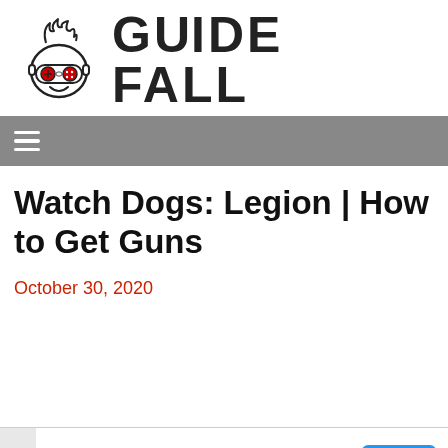GUIDE FALL
[Figure (logo): Guide Fall logo: a cartoon skull/face with flames on top, wearing a game controller as glasses/eyes, outlined in black on white background]
Watch Dogs: Legion | How to Get Guns
October 30, 2020
[Figure (infographic): Advertisement bar: Nota | Book A Demo Today | OPEN button in blue]